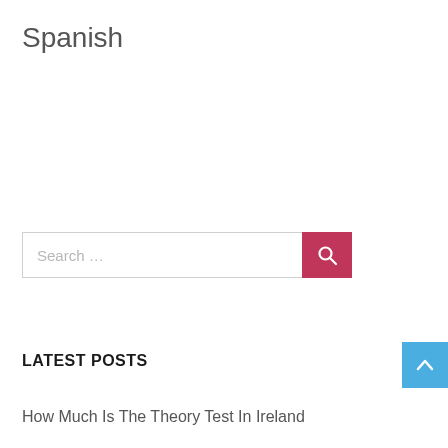Spanish
[Figure (other): Search bar with text input field and pink/red search button with magnifying glass icon]
LATEST POSTS
How Much Is The Theory Test In Ireland